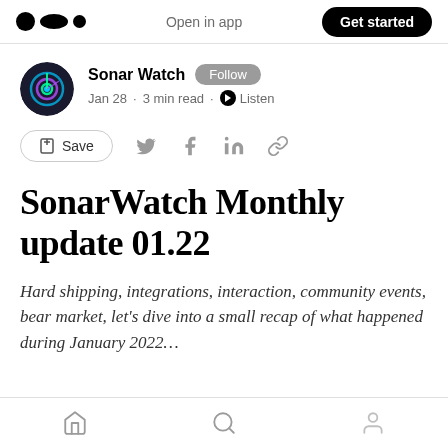Open in app  Get started
Sonar Watch  Follow
Jan 28 · 3 min read · Listen
Save
SonarWatch Monthly update 01.22
Hard shipping, integrations, interaction, community events, bear market, let's dive into a small recap of what happened during January 2022…
Home  Search  Profile